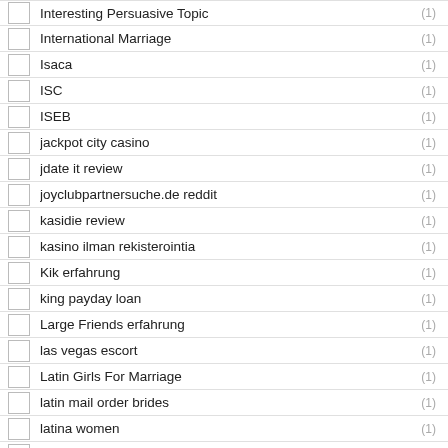Interesting Persuasive Topic (1)
International Marriage (1)
Isaca (1)
ISC (1)
ISEB (1)
jackpot city casino (1)
jdate it review (1)
joyclubpartnersuche.de reddit (1)
kasidie review (1)
kasino ilman rekisterointia (1)
Kik erfahrung (1)
king payday loan (1)
Large Friends erfahrung (1)
las vegas escort (1)
Latin Girls For Marriage (1)
latin mail order brides (1)
latina women (1)
legalne kasyna online (1)
legit online loans for bad credit (1)